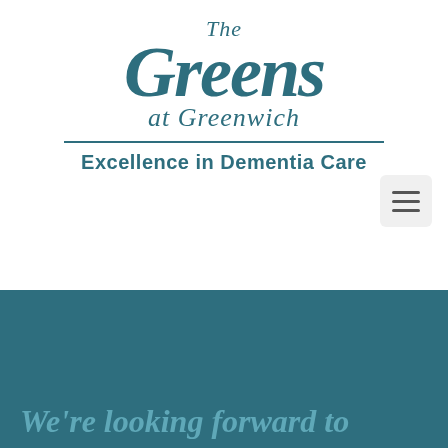[Figure (logo): The Greens at Greenwich logo with cursive script text and tagline 'Excellence in Dementia Care']
We're looking forward to speaking with you